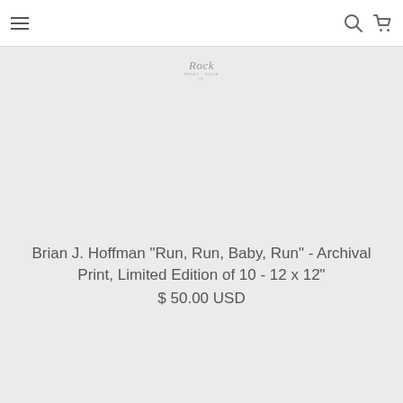navigation header with hamburger menu, search icon, and cart icon
[Figure (logo): Stylized script logo reading 'Rock print & such co' or similar]
Brian J. Hoffman "Run, Run, Baby, Run" - Archival Print, Limited Edition of 10 - 12 x 12"
$ 50.00 USD